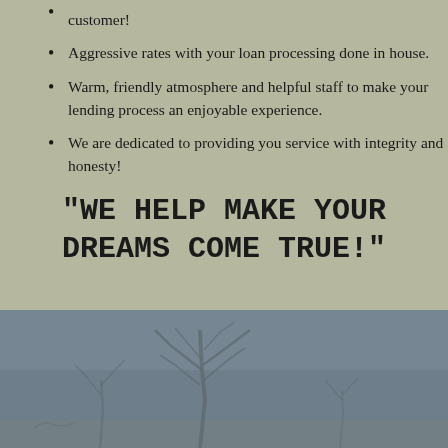customer!
Aggressive rates with your loan processing done in house.
Warm, friendly atmosphere and helpful staff to make your lending process an enjoyable experience.
We are dedicated to providing you service with integrity and honesty!
"WE HELP MAKE YOUR DREAMS COME TRUE!"
[Figure (photo): Winter landscape with bare tree silhouette against a muted blue-grey sky]